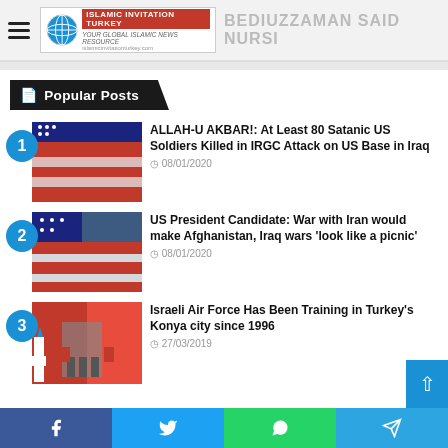ISLAMIC INVITATION TURKEY | BEDIUZZAMAN SAID NURSI
Popular Posts
ALLAH-U AKBAR!: At Least 80 Satanic US Soldiers Killed in IRGC Attack on US Base in Iraq | 08/01/2020
US President Candidate: War with Iran would make Afghanistan, Iraq wars 'look like a picnic' | 08/01/2020
Israeli Air Force Has Been Training in Turkey's Konya city since 1996 | 27/03/2019
Facebook | Twitter | WhatsApp | Telegram